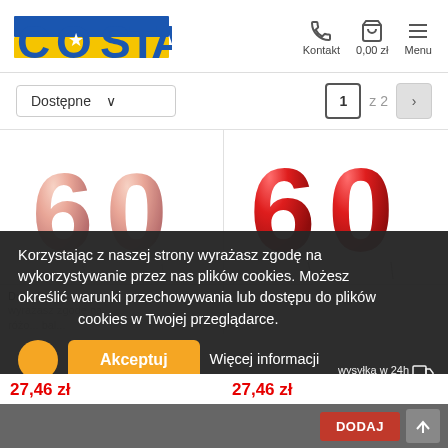[Figure (logo): COSTA logo with Ukrainian flag colors (blue and yellow), star in center of O]
Kontakt  0,00 zł  Menu
Dostępne  1  z 2  >
[Figure (photo): Rose gold foil balloon number 60]
[Figure (photo): Red foil balloon number 60]
Duże balony foliowe 60 bal... różowe złoto
27,46 zł
27,46 zł
Korzystając z naszej strony wyrażasz zgodę na wykorzystywanie przez nas plików cookies. Możesz określić warunki przechowywania lub dostępu do plików cookies w Twojej przeglądarce.